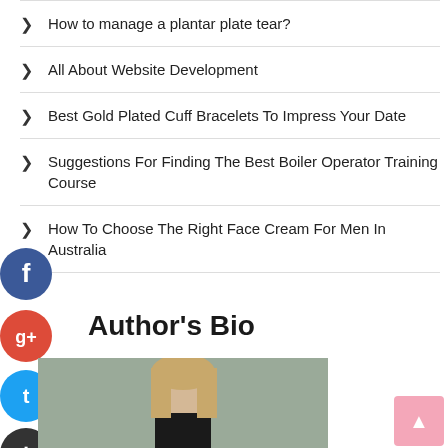How to manage a plantar plate tear?
All About Website Development
Best Gold Plated Cuff Bracelets To Impress Your Date
Suggestions For Finding The Best Boiler Operator Training Course
How To Choose The Right Face Cream For Men In Australia
Author's Bio
[Figure (photo): Headshot photo of a blonde woman looking at the camera, wearing dark clothing against a neutral grey background]